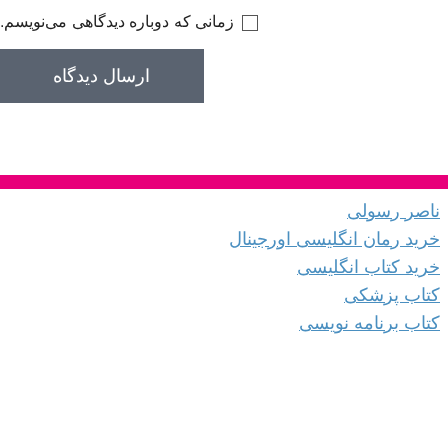زمانی که دوباره دیدگاهی می‌نویسم.
ارسال دیدگاه
ناصر رسولی
خرید رمان انگلیسی اورجینال
خرید کتاب انگلیسی
کتاب پزشکی
کتاب برنامه نویسی